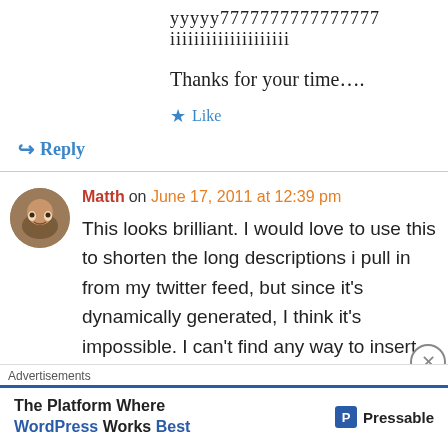yyyyy7777777777777777 iiiiiiiiiiiiiiiiiiii
Thanks for your time….
★ Like
↪ Reply
Matth on June 17, 2011 at 12:39 pm
This looks brilliant. I would love to use this to shorten the long descriptions i pull in from my twitter feed, but since it's dynamically generated, I think it's impossible. I can't find any way to insert the since the feed is pulled directly from
Advertisements
The Platform Where WordPress Works Best   Pressable